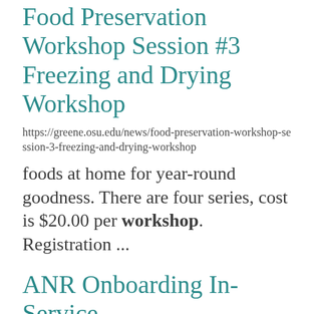Food Preservation Workshop Session #3 Freezing and Drying Workshop
https://greene.osu.edu/news/food-preservation-workshop-session-3-freezing-and-drying-workshop
foods at home for year-round goodness. There are four series, cost is $20.00 per workshop.  Registration ...
ANR Onboarding In-Service
https://extension.osu.edu/events/anr-onboarding-service
may arise when working with clientele during conversations, site visits or programs. Topics will ...